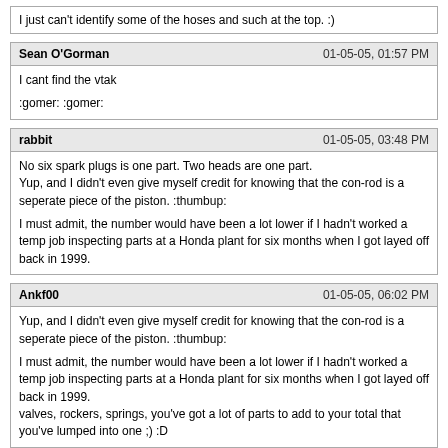I just can't identify some of the hoses and such at the top. :)
Sean O'Gorman
01-05-05, 01:57 PM
I cant find the vtak
:gomer: :gomer:
rabbit
01-05-05, 03:48 PM
No six spark plugs is one part. Two heads are one part.
Yup, and I didn't even give myself credit for knowing that the con-rod is a seperate piece of the piston. :thumbup:

I must admit, the number would have been a lot lower if I hadn't worked a temp job inspecting parts at a Honda plant for six months when I got layed off back in 1999.
Ankf00
01-05-05, 06:02 PM
Yup, and I didn't even give myself credit for knowing that the con-rod is a seperate piece of the piston. :thumbup:

I must admit, the number would have been a lot lower if I hadn't worked a temp job inspecting parts at a Honda plant for six months when I got layed off back in 1999.
valves, rockers, springs, you've got a lot of parts to add to your total that you've lumped into one ;) :D
Powered by vBulletin® Version 4.2.5 Copyright © 2022 vBulletin Solutions Inc. All rights reserved.